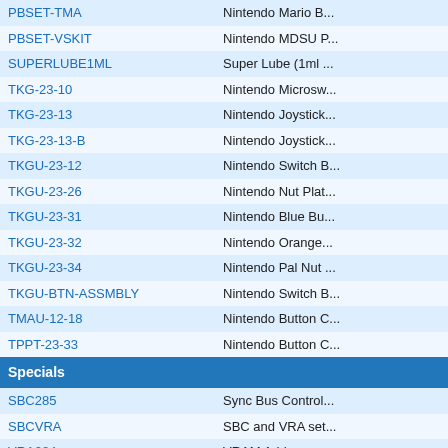| Code | Description |
| --- | --- |
| PBSET-TMA | Nintendo Mario B... |
| PBSET-VSKIT | Nintendo MDSU P... |
| SUPERLUBE1ML | Super Lube (1ml ... |
| TKG-23-10 | Nintendo Microsw... |
| TKG-23-13 | Nintendo Joystick... |
| TKG-23-13-B | Nintendo Joystick... |
| TKGU-23-12 | Nintendo Switch B... |
| TKGU-23-26 | Nintendo Nut Plat... |
| TKGU-23-31 | Nintendo Blue Bu... |
| TKGU-23-32 | Nintendo Orange... |
| TKGU-23-34 | Nintendo Pal Nut ... |
| TKGU-BTN-ASSMBLY | Nintendo Switch B... |
| TMAU-12-18 | Nintendo Button C... |
| TPPT-23-33 | Nintendo Button C... |
| Specials |  |
| SBC285 | Sync Bus Control... |
| SBCVRA | SBC and VRA set... |
| VRA284 | VRAM Addresser... |
| Tools |  |
| 6PK-202A | D-sub pin crimp to... |
| B1024 | HAKKO HOLDER... |
| B1063 | HAKKO RETAINE... |
| CPULLER | Chip Puller |
| DMMPOCKET | Digital Pocket Mu... |
| DMTESTER | 7 Function Multi-t... |
| E-RING-TOOL-4MM | E-Ring Tool (4mm... |
| EM3081 | All-sun Digital Mu... voltage meter |
| HF-92410 | 8 In. Four-Way Cr... |
| HT-SN-01BM | Single step crimpe... |
| HT-SN-48B | Single step crimpe... |
| HT-SRTOOL | Strain Relief Bus... |